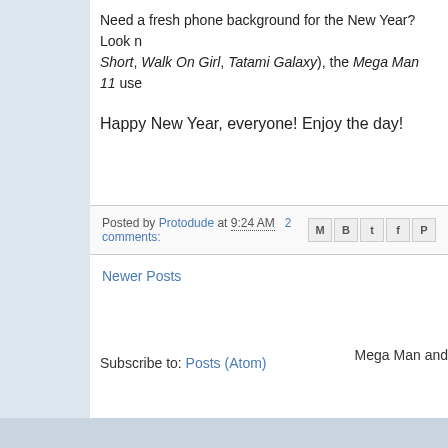Need a fresh phone background for the New Year? Look n Short, Walk On Girl, Tatami Galaxy), the Mega Man 11 use
Happy New Year, everyone! Enjoy the day!
Posted by Protodude at 9:24 AM   2 comments:
Newer Posts
Subscribe to: Posts (Atom)
Mega Man and